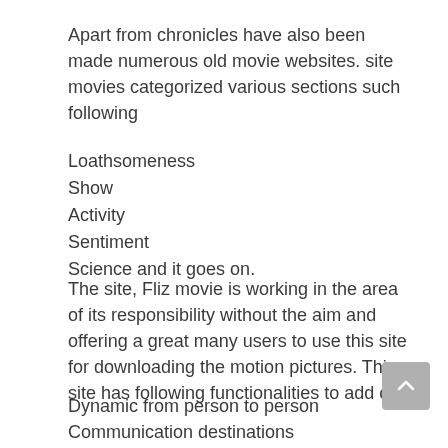Apart from chronicles have also been made numerous old movie websites. site movies categorized various sections such following
Loathsomeness
Show
Activity
Sentiment
Science and it goes on.
The site, Fliz movie is working in the area of its responsibility without the aim and offering a great many users to use this site for downloading the motion pictures. This site has following functionalities to add on:
Dynamic from person to person
Communication destinations